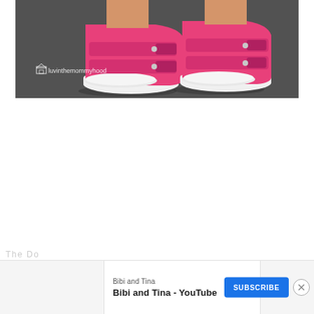[Figure (photo): Close-up photo of a child's feet wearing bright pink canvas sneakers with velcro straps and white rubber toe caps, standing on dark asphalt. Watermark in lower left reads 'luvinthemommyhood' with a small house icon.]
The Do...
[Figure (screenshot): YouTube advertisement bar at the bottom of the page showing 'Bibi and Tina' channel with title 'Bibi and Tina - YouTube', a blue SUBSCRIBE button, and a close (X) circle button. Small ad icons visible on the left side.]